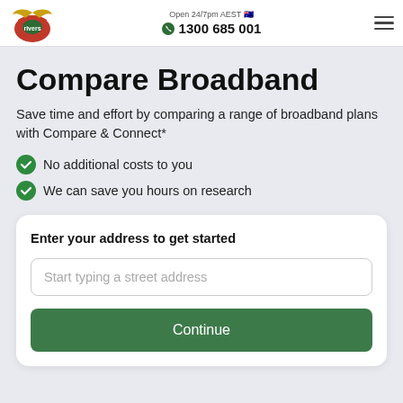Open 24/7pm AEST  1300 685 001
Compare Broadband
Save time and effort by comparing a range of broadband plans with Compare & Connect*
No additional costs to you
We can save you hours on research
Enter your address to get started
Start typing a street address
Continue